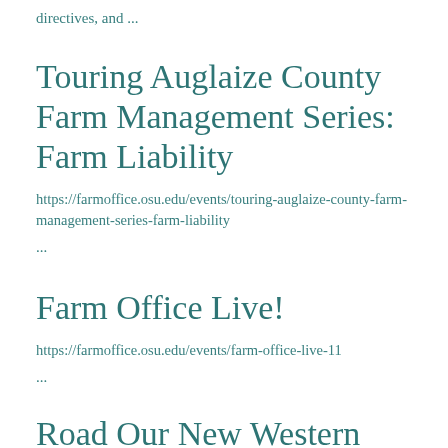directives, and ...
Touring Auglaize County Farm Management Series: Farm Liability
https://farmoffice.osu.edu/events/touring-auglaize-county-farm-management-series-farm-liability
...
Farm Office Live!
https://farmoffice.osu.edu/events/farm-office-live-11
...
Road Our New Western Ohio